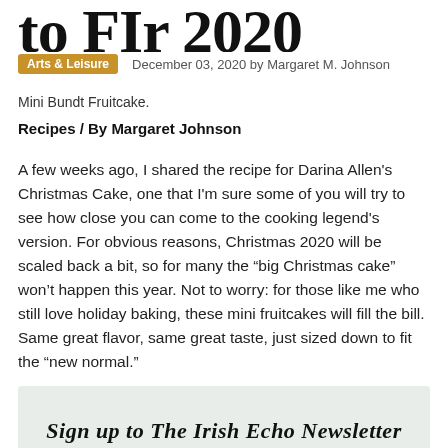to FIr 2020
Arts & Leisure   December 03, 2020 by Margaret M. Johnson
Mini Bundt Fruitcake.
Recipes / By Margaret Johnson
A few weeks ago, I shared the recipe for Darina Allen's Christmas Cake, one that I'm sure some of you will try to see how close you can come to the cooking legend's version. For obvious reasons, Christmas 2020 will be scaled back a bit, so for many the “big Christmas cake” won’t happen this year. Not to worry: for those like me who still love holiday baking, these mini fruitcakes will fill the bill. Same great flavor, same great taste, just sized down to fit the “new normal.”
Sign up to The Irish Echo Newsletter